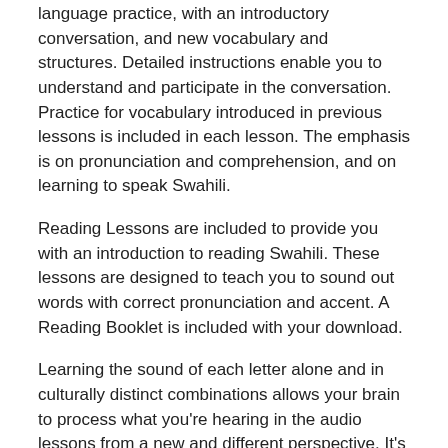language practice, with an introductory conversation, and new vocabulary and structures. Detailed instructions enable you to understand and participate in the conversation. Practice for vocabulary introduced in previous lessons is included in each lesson. The emphasis is on pronunciation and comprehension, and on learning to speak Swahili.
Reading Lessons are included to provide you with an introduction to reading Swahili. These lessons are designed to teach you to sound out words with correct pronunciation and accent. A Reading Booklet is included with your download.
Learning the sound of each letter alone and in culturally distinct combinations allows your brain to process what you're hearing in the audio lessons from a new and different perspective. It's a powerful combination that makes Pimsleur different from every other method on the market.
The Swahili Language